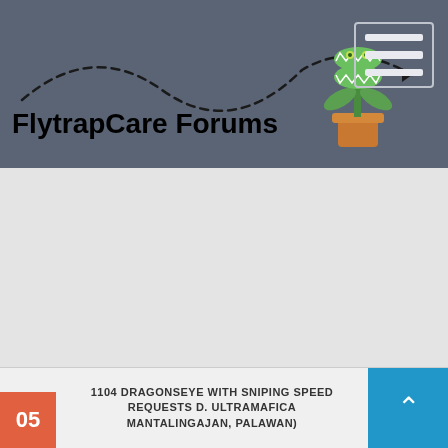FlytrapCare Forums
[Figure (screenshot): Large blank content area, light gray background, representing a web page body with no loaded content]
1104 DRAGONSEYE WITH SNIPING SPEED REQUESTS D. ULTRAMAFICA MANTALINGAJAN, PALAWAN)